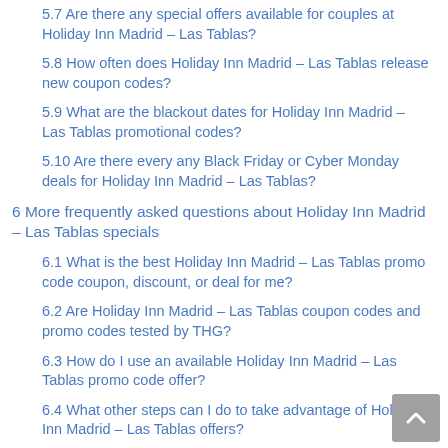5.7 Are there any special offers available for couples at Holiday Inn Madrid – Las Tablas?
5.8 How often does Holiday Inn Madrid – Las Tablas release new coupon codes?
5.9 What are the blackout dates for Holiday Inn Madrid – Las Tablas promotional codes?
5.10 Are there every any Black Friday or Cyber Monday deals for Holiday Inn Madrid – Las Tablas?
6 More frequently asked questions about Holiday Inn Madrid – Las Tablas specials
6.1 What is the best Holiday Inn Madrid – Las Tablas promo code coupon, discount, or deal for me?
6.2 Are Holiday Inn Madrid – Las Tablas coupon codes and promo codes tested by THG?
6.3 How do I use an available Holiday Inn Madrid – Las Tablas promo code offer?
6.4 What other steps can I do to take advantage of Holiday Inn Madrid – Las Tablas offers?
6.5 How many coupon codes can be used for each reservation if I find more than one Holiday Inn Madrid – Las Tablas coupon code?